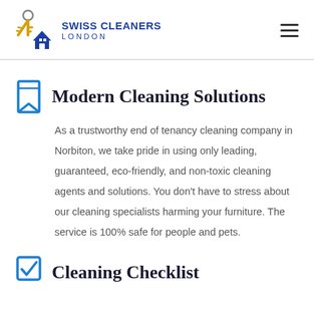[Figure (logo): Swiss Cleaners London logo with keys and house icon]
Modern Cleaning Solutions
As a trustworthy end of tenancy cleaning company in Norbiton, we take pride in using only leading, guaranteed, eco-friendly, and non-toxic cleaning agents and solutions. You don't have to stress about our cleaning specialists harming your furniture. The service is 100% safe for people and pets.
Cleaning Checklist